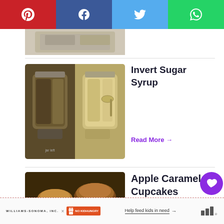[Figure (screenshot): Social share bar with Pinterest (red), Facebook (dark blue), Twitter (light blue), WhatsApp (green) buttons]
[Figure (photo): Partial view of a jar image cropped at top]
[Figure (photo): Two jars of invert sugar syrup side by side]
Invert Sugar Syrup
Read More →
[Figure (photo): Apple caramel cupcakes with caramel drizzle, text overlay 'apple caramel cupcake']
Apple Caramel Cupcakes
Read More →
936
WHAT'S NEXT → Brown Sugar Caramel Cake
WILLIAMS-SONOMA, INC. × NO KID HUNGRY Help feed kids in need →